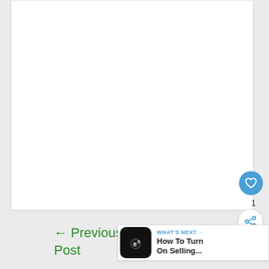[Figure (screenshot): White content card area, mostly blank/white background representing a blog post content area]
[Figure (infographic): Blue circular heart/like button with heart icon, count of 1 below it, and a white circular share button with share icon]
1
← Previous Post
Next Post
[Figure (screenshot): What's Next banner showing 'WHAT'S NEXT →' label and 'How To Turn On Selling...' text with a black rounded square icon showing e3 logo]